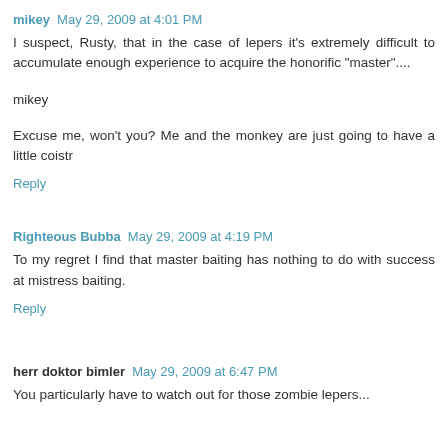mikey May 29, 2009 at 4:01 PM
I suspect, Rusty, that in the case of lepers it's extremely difficult to accumulate enough experience to acquire the honorific "master"....
mikey
Excuse me, won't you? Me and the monkey are just going to have a little coistr
Reply
Righteous Bubba May 29, 2009 at 4:19 PM
To my regret I find that master baiting has nothing to do with success at mistress baiting.
Reply
herr doktor bimler May 29, 2009 at 6:47 PM
You particularly have to watch out for those zombie lepers...